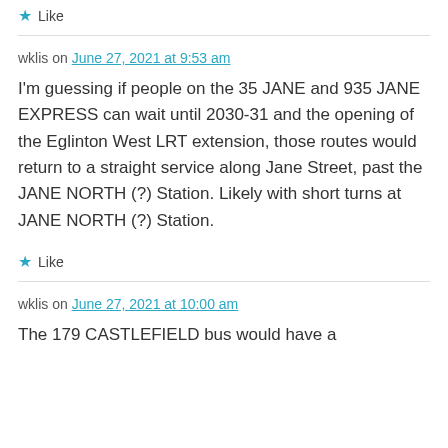Like
wklis on June 27, 2021 at 9:53 am
I'm guessing if people on the 35 JANE and 935 JANE EXPRESS can wait until 2030-31 and the opening of the Eglinton West LRT extension, those routes would return to a straight service along Jane Street, past the JANE NORTH (?) Station. Likely with short turns at JANE NORTH (?) Station.
Like
wklis on June 27, 2021 at 10:00 am
The 179 CASTLEFIELD bus would have a